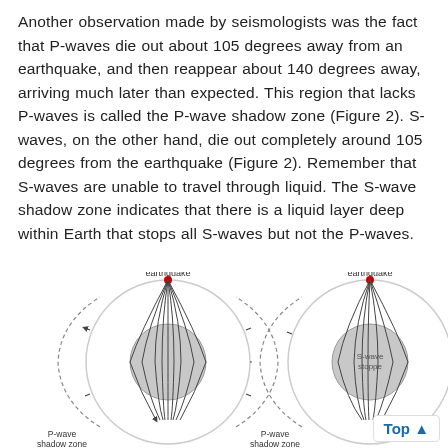Another observation made by seismologists was the fact that P-waves die out about 105 degrees away from an earthquake, and then reappear about 140 degrees away, arriving much later than expected. This region that lacks P-waves is called the P-wave shadow zone (Figure 2). S-waves, on the other hand, die out completely around 105 degrees from the earthquake (Figure 2). Remember that S-waves are unable to travel through liquid. The S-wave shadow zone indicates that there is a liquid layer deep within Earth that stops all S-waves but not the P-waves.
[Figure (illustration): Two diagrams showing seismic wave shadow zones. Left diagram shows P-wave shadow zones on both sides of Earth with curved ray paths and a central core region. Labels: 'earthquake' at top, 'P-wave shadow zone' on left and right. Right diagram (partially visible) shows S-wave stopped region with 'S-wave stoppe' label and 'earthquake' at top.]